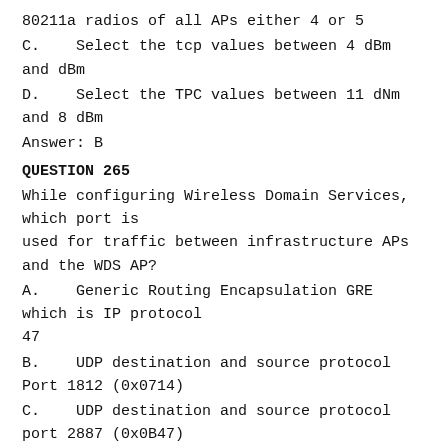80211a radios of all APs either 4 or 5
C.   Select the tcp values between 4 dBm and dBm
D.   Select the TPC values between 11 dNm and 8 dBm
Answer: B
QUESTION 265
While configuring Wireless Domain Services, which port is used for traffic between infrastructure APs and the WDS AP?
A.   Generic Routing Encapsulation GRE which is IP protocol 47
B.   UDP destination and source protocol Port 1812 (0x0714)
C.   UDP destination and source protocol port 2887 (0x0B47) or Ethernet Type 34605 (0x872D)
D.   UDP destination and Source Protocol Port 1645 (0x066D)
Answer: C
QUESTION 266
Assuming that the antenna system characteristics (for example, gain VSWR, polarization and beam width) are